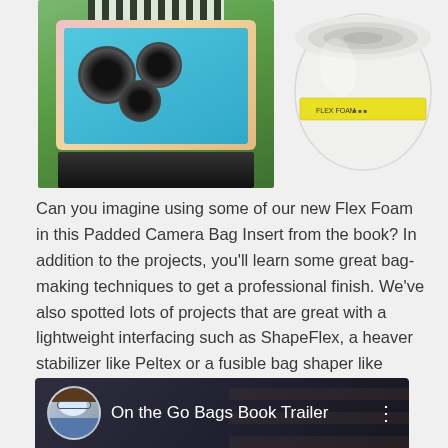[Figure (photo): Left image: person holding open a colorful padded camera bag insert with multiple lens compartments in teal/blue lining, photographed from above on green grass. Right image: a roll of white Flex Foam interfacing/stabilizer material with product label.]
Can you imagine using some of our new Flex Foam in this Padded Camera Bag Insert from the book? In addition to the projects, you'll learn some great bag-making techniques to get a professional finish. We've also spotted lots of projects that are great with a lightweight interfacing such as ShapeFlex, a heaver stabilizer like Peltex or a fusible bag shaper like Thermolam Plus.
[Figure (screenshot): Video thumbnail for 'On the Go Bags Book Trailer' showing a circular avatar photo of a woman with glasses and a video title on dark background with a three-dot menu icon.]